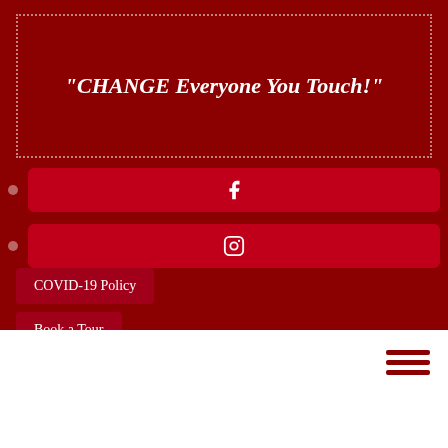"CHANGE Everyone You Touch!"
[Figure (infographic): Facebook icon button bar in red]
[Figure (infographic): Instagram icon button bar in red]
COVID-19 Policy
Book a Tour
Request Information
[Figure (infographic): Hamburger menu icon (three red horizontal lines) in white section]